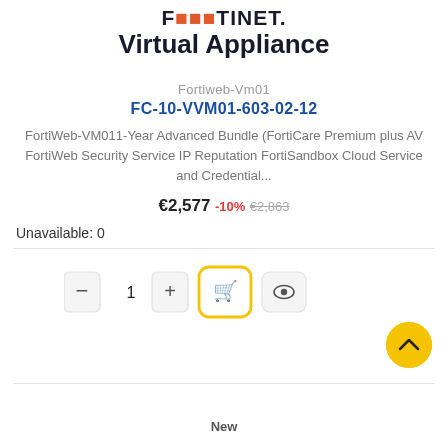Virtual Appliance
Fortiweb-Vm01
FC-10-VVM01-603-02-12
FortiWeb-VM011-Year Advanced Bundle (FortiCare Premium plus AV FortiWeb Security Service IP Reputation FortiSandbox Cloud Service and Credential...
€2,577 -10% €2,863
Unavailable: 0
New